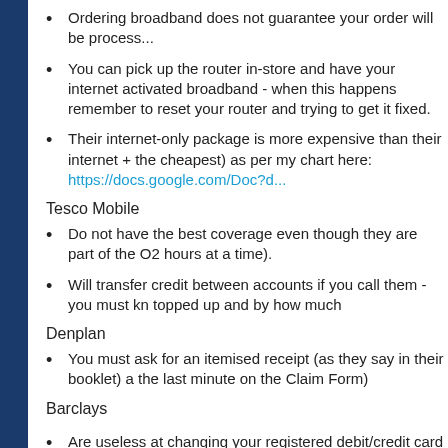Ordering broadband does not guarantee your order will be process...
You can pick up the router in-store and have your internet activated broadband - when this happens remember to reset your router and trying to get it fixed.
Their internet-only package is more expensive than their internet + the cheapest) as per my chart here: https://docs.google.com/Doc?d...
Tesco Mobile
Do not have the best coverage even though they are part of the O2 hours at a time).
Will transfer credit between accounts if you call them - you must kn topped up and by how much
Denplan
You must ask for an itemised receipt (as they say in their booklet) a the last minute on the Claim Form)
Barclays
Are useless at changing your registered debit/credit card address
No te...